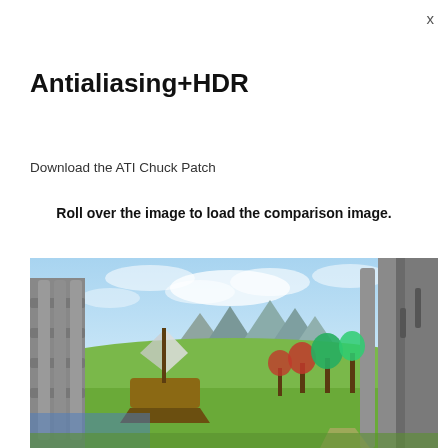x
Antialiasing+HDR
Download the ATI Chuck Patch
Roll over the image to load the comparison image.
[Figure (screenshot): Screenshot of a fantasy video game scene showing stone architecture, a sailing ship, green hills, trees, and mountains in the background, rendered with antialiasing and HDR effects.]